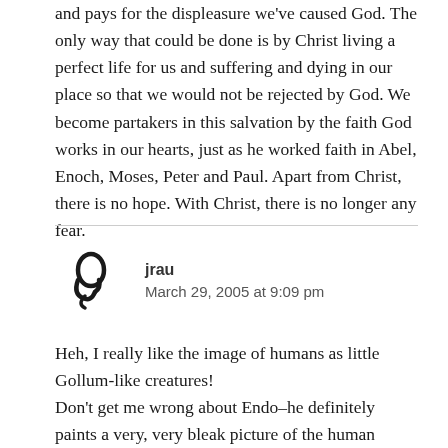and pays for the displeasure we've caused God. The only way that could be done is by Christ living a perfect life for us and suffering and dying in our place so that we would not be rejected by God. We become partakers in this salvation by the faith God works in our hearts, just as he worked faith in Abel, Enoch, Moses, Peter and Paul. Apart from Christ, there is no hope. With Christ, there is no longer any fear.
[Figure (illustration): Avatar icon: a stylized decorative monogram or glyph in dark ink, resembling an ornamental letter or symbol.]
jrau
March 29, 2005 at 9:09 pm
Heh, I really like the image of humans as little Gollum-like creatures!
Don't get me wrong about Endo–he definitely paints a very, very bleak picture of the human condition, quite possibly more than is theologically necessary to make his point. The